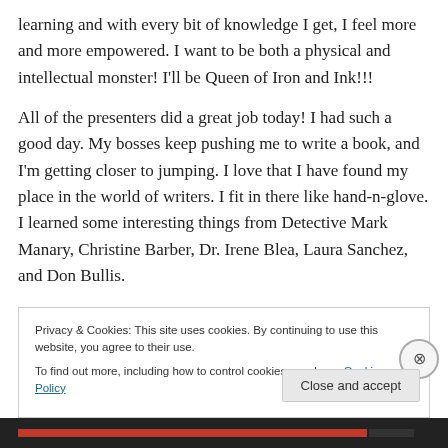learning and with every bit of knowledge I get, I feel more and more empowered. I want to be both a physical and intellectual monster! I'll be Queen of Iron and Ink!!!
All of the presenters did a great job today! I had such a good day. My bosses keep pushing me to write a book, and I'm getting closer to jumping. I love that I have found my place in the world of writers. I fit in there like hand-n-glove. I learned some interesting things from Detective Mark Manary, Christine Barber, Dr. Irene Blea, Laura Sanchez, and Don Bullis.
Privacy & Cookies: This site uses cookies. By continuing to use this website, you agree to their use.
To find out more, including how to control cookies, see here: Cookie Policy
Close and accept